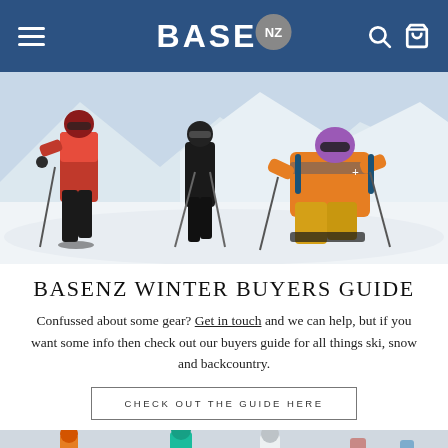BASE NZ — navigation bar with hamburger menu, logo, search and cart icons
[Figure (photo): Three skiers/backcountry skiers in colorful outerwear (red, orange, black) on a snowy mountain slope with ski poles]
BASENZ WINTER BUYERS GUIDE
Confussed about some gear? Get in touch and we can help, but if you want some info then check out our buyers guide for all things ski, snow and backcountry.
CHECK OUT THE GUIDE HERE
[Figure (photo): Partial bottom image strip showing skiers, partially cropped]